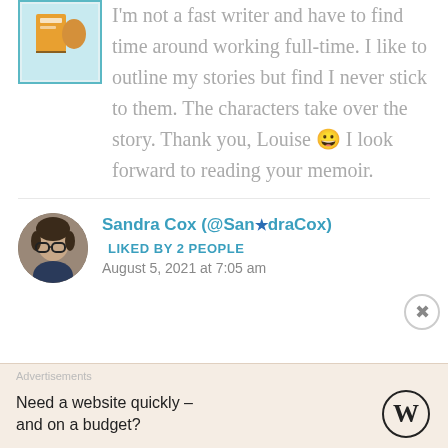I'm not a fast writer and have to find time around working full-time. I like to outline my stories but find I never stick to them. The characters take over the story. Thank you, Louise 😀 I look forward to reading your memoir.
Sandra Cox (@Sandra_Cox) — LIKED BY 2 PEOPLE
August 5, 2021 at 7:05 am
Advertisements
Need a website quickly – and on a budget?